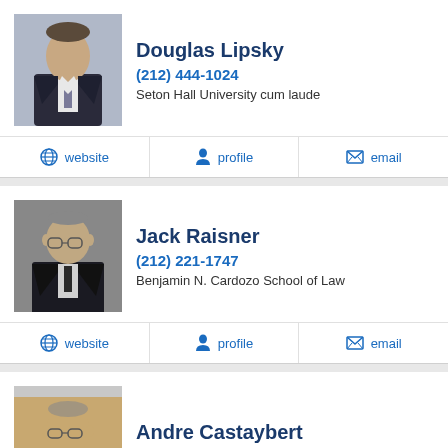[Figure (photo): Headshot of Douglas Lipsky, a man in a dark suit and tie]
Douglas Lipsky
(212) 444-1024
Seton Hall University cum laude
website | profile | email
[Figure (photo): Headshot of Jack Raisner, an older man with glasses in a dark suit]
Jack Raisner
(212) 221-1747
Benjamin N. Cardozo School of Law
website | profile | email
[Figure (photo): Headshot of Andre Castaybert, a man with glasses]
Andre Castaybert
New York University School of Law